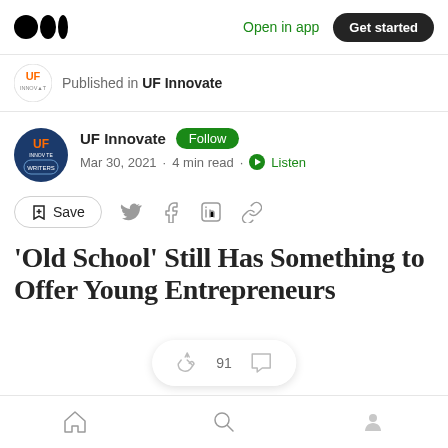Medium logo | Open in app | Get started
Published in UF Innovate
UF Innovate · Follow · Mar 30, 2021 · 4 min read · Listen
Save (share icons: Twitter, Facebook, LinkedIn, Link)
'Old School' Still Has Something to Offer Young Entrepreneurs
Home | Search | Profile (bottom nav)